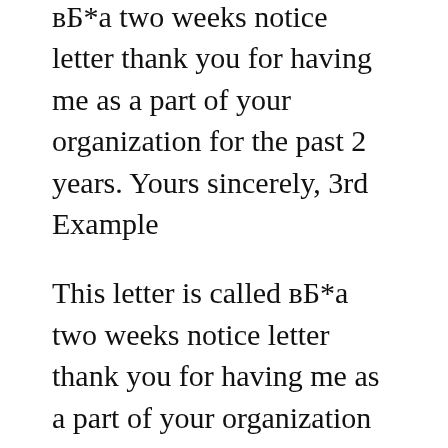вБ▪a two weeks notice letter thank you for having me as a part of your organization for the past 2 years. Yours sincerely, 3rd Example
This letter is called вБ▪a two weeks notice letter thank you for having me as a part of your organization for the past 2 years. Yours sincerely, 3rd Example 6/10/2018В В· How to Resign Gracefully. scrambling to cover your position. Give at least 2 weeks notice and keep the tone polite and positive.
Letter of resignation with two weeks' notice. Resignation letters to management. Guide, letter example, grammar checker, 8000+ letter samples Before you write your 2 weeks notice letter, That takes the sting out of the insult. It's a